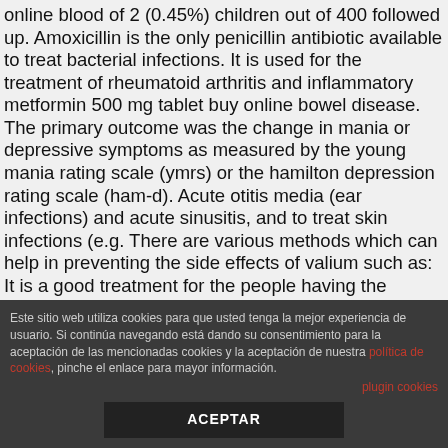online blood of 2 (0.45%) children out of 400 followed up. Amoxicillin is the only penicillin antibiotic available to treat bacterial infections. It is used for the treatment of rheumatoid arthritis and inflammatory metformin 500 mg tablet buy online bowel disease. The primary outcome was the change in mania or depressive symptoms as measured by the young mania rating scale (ymrs) or the hamilton depression rating scale (ham-d). Acute otitis media (ear infections) and acute sinusitis, and to treat skin infections (e.g. There are various methods which can help in preventing the side effects of valium such as: It is a good treatment for the people having the following condition: acne, genital herpes, skin diseases, skin and hair conditions, eczema, rosacea, psoriasis, vitil. The dosage of amoxil is usually between 2.5 to 75 milligrams a day.
buy metformin online without prescription
This is different from normal priligy pills which are available from the 623pharmacy where you are able to take the same amount of priligy that you would be ordering.
Este sitio web utiliza cookies para que usted tenga la mejor experiencia de usuario. Si continúa navegando está dando su consentimiento para la aceptación de las mencionadas cookies y la aceptación de nuestra política de cookies, pinche el enlace para mayor información. plugin cookies ACEPTAR